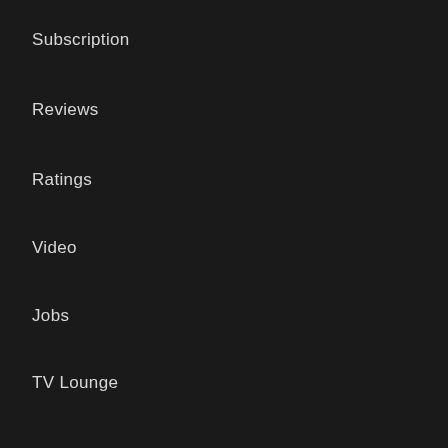Subscription
Reviews
Ratings
Video
Jobs
TV Lounge
INFO
About
Contact
Links
Comments Policy